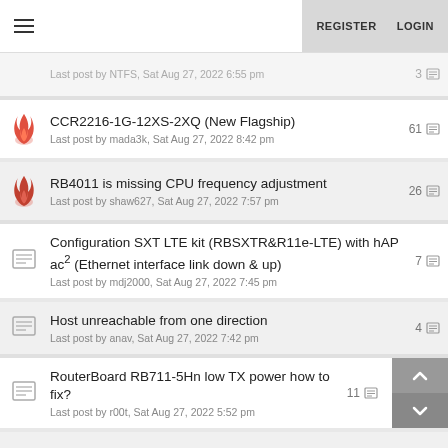≡  REGISTER  LOGIN
Last post by NTFS, Sat Aug 27, 2022 6:55 pm  3
CCR2216-1G-12XS-2XQ (New Flagship)
Last post by mada3k, Sat Aug 27, 2022 8:42 pm  61
RB4011 is missing CPU frequency adjustment
Last post by shaw627, Sat Aug 27, 2022 7:57 pm  26
Configuration SXT LTE kit (RBSXTR&R11e-LTE) with hAP ac² (Ethernet interface link down & up)
Last post by mdj2000, Sat Aug 27, 2022 7:45 pm  7
Host unreachable from one direction
Last post by anav, Sat Aug 27, 2022 7:42 pm  4
RouterBoard RB711-5Hn low TX power how to fix?
Last post by r00t, Sat Aug 27, 2022 5:52 pm  11